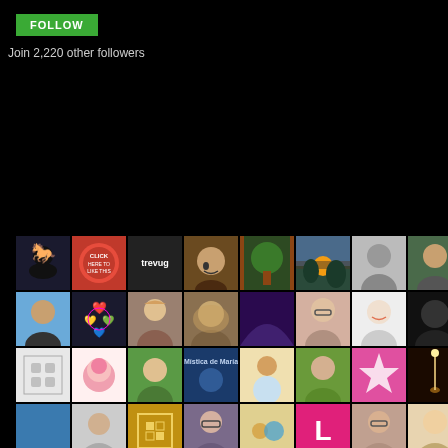[Figure (screenshot): Green FOLLOW button]
Join 2,220 other followers
[Figure (photo): Grid of 46+ follower avatar images arranged in 8 columns on a black background]